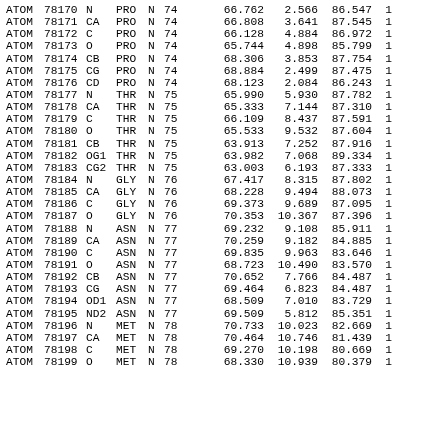| Type | Serial | Name | ResName | Chain | ResSeq | iCode | X | Y | Z | partial |
| --- | --- | --- | --- | --- | --- | --- | --- | --- | --- | --- |
| ATOM | 78170 | N | PRO | N | 74 |  | 66.762 | 2.566 | 86.547 | 1 |
| ATOM | 78171 | CA | PRO | N | 74 |  | 66.808 | 3.641 | 87.545 | 1 |
| ATOM | 78172 | C | PRO | N | 74 |  | 66.128 | 4.884 | 86.972 | 1 |
| ATOM | 78173 | O | PRO | N | 74 |  | 65.744 | 4.898 | 85.799 | 1 |
| ATOM | 78174 | CB | PRO | N | 74 |  | 68.306 | 3.853 | 87.754 | 1 |
| ATOM | 78175 | CG | PRO | N | 74 |  | 68.884 | 2.499 | 87.475 | 1 |
| ATOM | 78176 | CD | PRO | N | 74 |  | 68.123 | 2.084 | 86.243 | 1 |
| ATOM | 78177 | N | THR | N | 75 |  | 65.990 | 5.930 | 87.782 | 1 |
| ATOM | 78178 | CA | THR | N | 75 |  | 65.333 | 7.144 | 87.310 | 1 |
| ATOM | 78179 | C | THR | N | 75 |  | 66.109 | 8.437 | 87.591 | 1 |
| ATOM | 78180 | O | THR | N | 75 |  | 65.533 | 9.532 | 87.604 | 1 |
| ATOM | 78181 | CB | THR | N | 75 |  | 63.913 | 7.252 | 87.916 | 1 |
| ATOM | 78182 | OG1 | THR | N | 75 |  | 63.982 | 7.068 | 89.334 | 1 |
| ATOM | 78183 | CG2 | THR | N | 75 |  | 63.003 | 6.193 | 87.333 | 1 |
| ATOM | 78184 | N | GLY | N | 76 |  | 67.417 | 8.315 | 87.802 | 1 |
| ATOM | 78185 | CA | GLY | N | 76 |  | 68.228 | 9.494 | 88.073 | 1 |
| ATOM | 78186 | C | GLY | N | 76 |  | 69.373 | 9.689 | 87.095 | 1 |
| ATOM | 78187 | O | GLY | N | 76 |  | 70.353 | 10.367 | 87.396 | 1 |
| ATOM | 78188 | N | ASN | N | 77 |  | 69.232 | 9.108 | 85.911 | 1 |
| ATOM | 78189 | CA | ASN | N | 77 |  | 70.259 | 9.182 | 84.885 | 1 |
| ATOM | 78190 | C | ASN | N | 77 |  | 69.835 | 9.963 | 83.646 | 1 |
| ATOM | 78191 | O | ASN | N | 77 |  | 68.723 | 10.490 | 83.570 | 1 |
| ATOM | 78192 | CB | ASN | N | 77 |  | 70.652 | 7.766 | 84.487 | 1 |
| ATOM | 78193 | CG | ASN | N | 77 |  | 69.464 | 6.823 | 84.487 | 1 |
| ATOM | 78194 | OD1 | ASN | N | 77 |  | 68.509 | 7.010 | 83.729 | 1 |
| ATOM | 78195 | ND2 | ASN | N | 77 |  | 69.509 | 5.812 | 85.351 | 1 |
| ATOM | 78196 | N | MET | N | 78 |  | 70.733 | 10.023 | 82.669 | 1 |
| ATOM | 78197 | CA | MET | N | 78 |  | 70.464 | 10.746 | 81.439 | 1 |
| ATOM | 78198 | C | MET | N | 78 |  | 69.270 | 10.198 | 80.669 | 1 |
| ATOM | 78199 | O | MET | N | 78 |  | 68.330 | 10.939 | 80.379 | 1 |